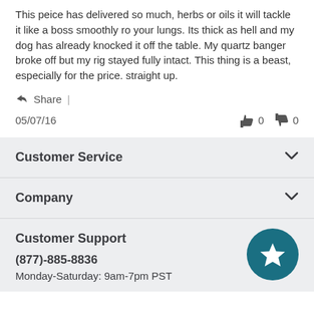This peice has delivered so much, herbs or oils it will tackle it like a boss smoothly ro your lungs. Its thick as hell and my dog has already knocked it off the table. My quartz banger broke off but my rig stayed fully intact. This thing is a beast, especially for the price. straight up.
Share |
05/07/16   👍 0   👎 0
Customer Service
Company
Customer Support
(877)-885-8836
Monday-Saturday: 9am-7pm PST